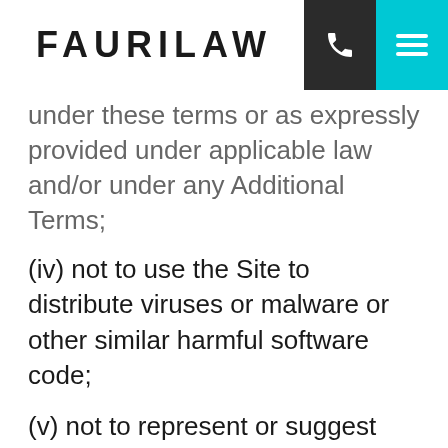FAURILAW
under these terms or as expressly provided under applicable law and/or under any Additional Terms;
(iv) not to use the Site to distribute viruses or malware or other similar harmful software code;
(v) not to represent or suggest that we endorse any other business, product or service unless we have separately agreed to do so in writing; and